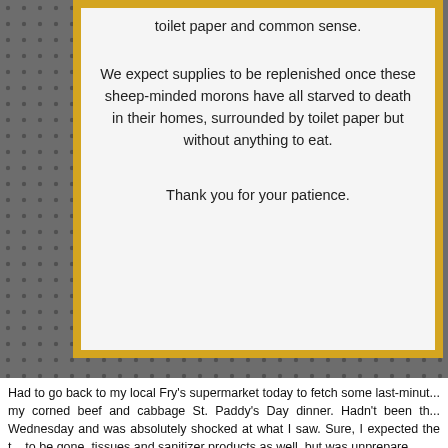[Figure (photo): A photo of a printed sign with a yellow border mounted on a pegboard surface. The sign reads partial text at the top 'toilet paper and common sense.' followed by paragraphs about sheep-minded morons and a thank you message.]
Had to go back to my local Fry's supermarket today to fetch some last-minute ingredients for my corned beef and cabbage St. Paddy's Day dinner. Hadn't been there since Wednesday and was absolutely shocked at what I saw. Sure, I expected the toilet paper to be gone, tissues and sanitizer products as well, but was unprepared...